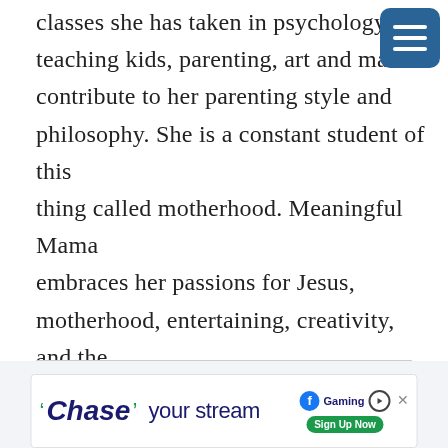classes she has taken in psychology, teaching kids, parenting, art and marriage contribute to her parenting style and philosophy. She is a constant student of this thing called motherhood. Meaningful Mama embraces her passions for Jesus, motherhood, entertaining, creativity, and the culinary arts.
[Figure (other): Navigation menu button (hamburger icon) — teal/blue rounded square with three horizontal white lines]
SEEN ON
[Figure (screenshot): Advertisement banner: 'Chase your stream' with Facebook Gaming logo and Sign Up Now button]